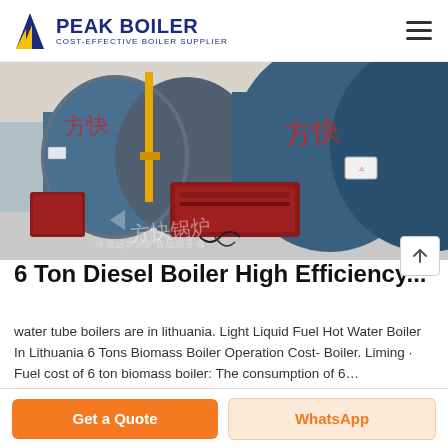PEAK BOILER — COST-EFFECTIVE BOILER SUPPLIER
[Figure (photo): Industrial boilers in a factory setting — large cylindrical blue boilers with Chinese text markings (方快锅炉), yellow piping, red burner units, and associated equipment on a concrete floor]
6 Ton Diesel Boiler High Efficiency...
water tube boilers are in lithuania. Light Liquid Fuel Hot Water Boiler In Lithuania 6 Tons Biomass Boiler Operation Cost- Boiler. Liming · Fuel cost of 6 ton biomass boiler: The consumption of 6...
Get a Quote | WhatsApp